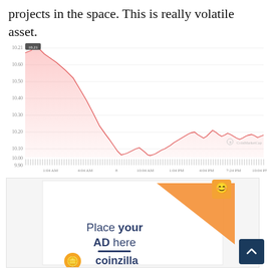projects in the space. This is really volatile asset.
[Figure (area-chart): Area chart showing a cryptocurrency price drop over a single day, from approximately 10.21 at start, rising briefly then falling sharply to around 10.00, with partial recovery to ~10.20-10.30 range. Y-axis labels: 10.00, 10.10, 10.20, 10.30, 10.40, 10.50, 10.60, 10.21. X-axis labels: 1:04 AM, 4:04 AM, 8, 10:04 AM, 1:04 PM, 4:04 PM, 7:24 PM, 10:04 PM. Volume bars at bottom. Watermark: CoinMarketCap.]
[Figure (photo): Advertisement placeholder image from Coinzilla showing 'Place your AD here' text with an orange triangle graphic and a cartoon coin mascot. A small back-to-top button is visible at bottom right.]